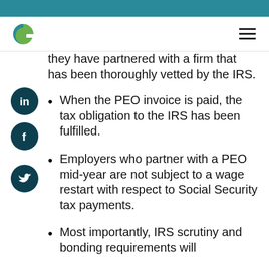they have partnered with a firm that has been thoroughly vetted by the IRS.
When the PEO invoice is paid, the tax obligation to the IRS has been fulfilled.
Employers who partner with a PEO mid-year are not subject to a wage restart with respect to Social Security tax payments.
Most importantly, IRS scrutiny and bonding requirements will